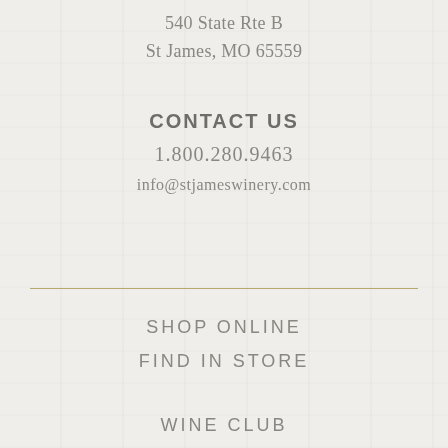540 State Rte B
St James, MO 65559
CONTACT US
1.800.280.9463
info@stjameswinery.com
SHOP ONLINE
FIND IN STORE
WINE CLUB